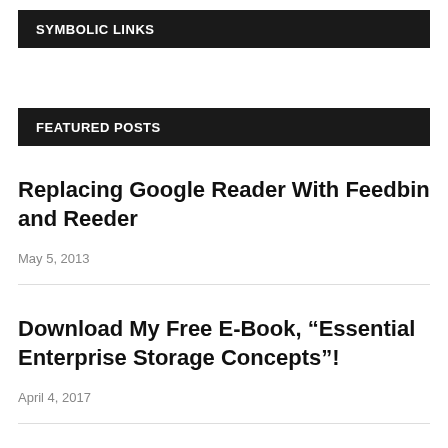SYMBOLIC LINKS
FEATURED POSTS
Replacing Google Reader With Feedbin and Reeder
May 5, 2013
Download My Free E-Book, “Essential Enterprise Storage Concepts”!
April 4, 2017